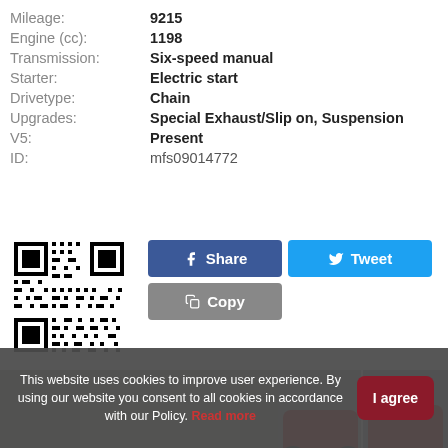| Field | Value |
| --- | --- |
| Mileage: | 9215 |
| Engine (cc): | 1198 |
| Transmission: | Six-speed manual |
| Starter: | Electric start |
| Drivetype: | Chain |
| Upgrades: | Special Exhaust/Slip on, Suspension |
| V5: | Present |
| ID: | mfs09014772 |
[Figure (other): QR code for the motorcycle listing]
[Figure (screenshot): Share, Tweet, and Copy social sharing buttons]
[Figure (photo): Photo gallery of a red Ducati/sport motorcycle. Main large photo shows the motorcycle parked in front of a building with green bushes. Four thumbnail photos on the right show additional angles of the red motorcycle.]
This website uses cookies to improve user experience. By using our website you consent to all cookies in accordance with our Policy. Read more